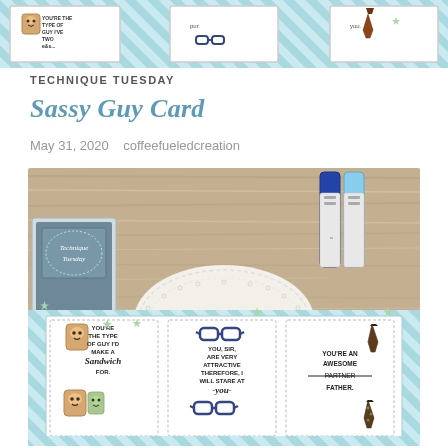[Figure (photo): Top cropped strip showing craft cards on a diagonal striped mint/teal background with toast characters, glasses, and tie motifs]
TECHNIQUE TUESDAY
Sassy Guy Card
May 31, 2020   coffeefueledcreation
[Figure (photo): Photo of craft supplies on a wood background: a Technique Tuesday stamp package (grey/teal packaging), two Copic markers (navy and light blue caps), a white lace doily, and a handmade card strip on a mint diagonal-striped background showing three panels: panel 1 has toast characters and text 'You're the type of guy I'd make a Sandwich for.', panel 2 has glasses imagery and text 'You, sir, are very attractive therefore I will stare at you', panel 3 has tie imagery and text 'You're an awesome PARTNER FATHER' with PARTNER struck through]